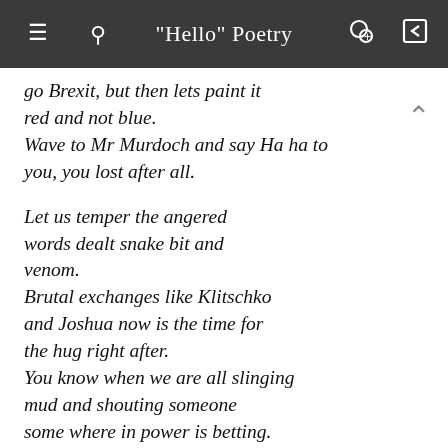"Hello" Poetry
go Brexit, but then lets paint it red and not blue.
Wave to Mr Murdoch and say Ha ha to you, you lost after all.

Let us temper the angered words dealt snake bit and venom.
Brutal exchanges like Klitschko and Joshua now is the time for the hug right after.
You know when we are all slinging mud and shouting someone some where in power is betting.
And they are the only one that will be winning.

Time now is for us to look in with